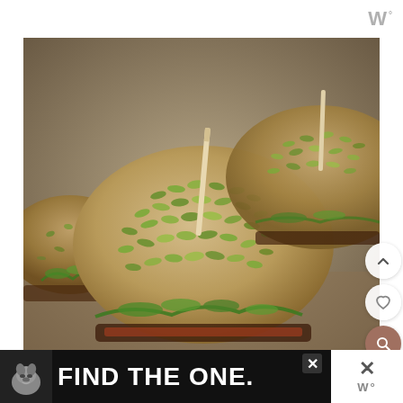W°
[Figure (photo): Close-up photo of seed-topped burger buns (sliders) with toothpicks, green sprouts visible, on a wooden surface. Multiple sliders in varying focus depths.]
[Figure (screenshot): Ad banner at the bottom: dark background with dog icon and text FIND THE ONE with a close button and W° logo on the right side.]